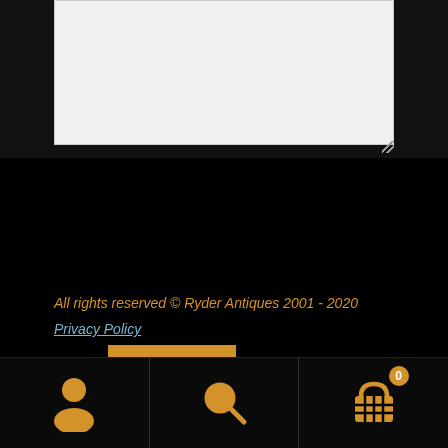[Figure (screenshot): Text area input box with light gray background and resize handle at bottom right]
Send
All rights reserved © Ryder Antiques 2001 - 2020
Privacy Policy
[Figure (infographic): Bottom navigation bar with user icon, search icon, and shopping cart icon with badge showing 0]